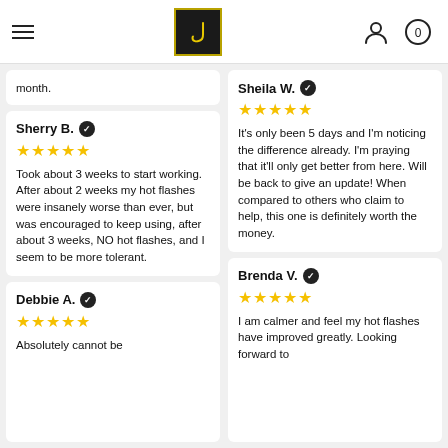Navigation bar with hamburger menu, logo, user icon, and cart (0)
month.
Sheila W. ✔
★★★★★
It's only been 5 days and I'm noticing the difference already. I'm praying that it'll only get better from here. Will be back to give an update! When compared to others who claim to help, this one is definitely worth the money.
Sherry B. ✔
★★★★★
Took about 3 weeks to start working. After about 2 weeks my hot flashes were insanely worse than ever, but was encouraged to keep using, after about 3 weeks, NO hot flashes, and I seem to be more tolerant.
Brenda V. ✔
★★★★★
I am calmer and feel my hot flashes have improved greatly. Looking forward to
Debbie A. ✔
★★★★★
Absolutely cannot be